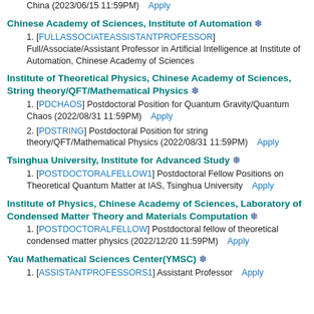China (2023/06/15 11:59PM)   Apply
Chinese Academy of Sciences, Institute of Automation ❄
1. [FULLASSOCIATEASSISTANTPROFESSOR] Full/Associate/Assistant Professor in Artificial Intelligence at Institute of Automation, Chinese Academy of Sciences
Institute of Theoretical Physics, Chinese Academy of Sciences, String theory/QFT/Mathematical Physics ❄
1. [PDCHAOS] Postdoctoral Position for Quantum Gravity/Quantum Chaos (2022/08/31 11:59PM)   Apply
2. [PDSTRING] Postdoctoral Position for string theory/QFT/Mathematical Physics (2022/08/31 11:59PM)   Apply
Tsinghua University, Institute for Advanced Study ❄
1. [POSTDOCTORALFELLOW1] Postdoctoral Fellow Positions on Theoretical Quantum Matter at IAS, Tsinghua University   Apply
Institute of Physics, Chinese Academy of Sciences, Laboratory of Condensed Matter Theory and Materials Computation ❄
1. [POSTDOCTORALFELLOW] Postdoctoral fellow of theoretical condensed matter physics (2022/12/20 11:59PM)   Apply
Yau Mathematical Sciences Center(YMSC) ❄
1. [ASSISTANTPROFESSORS1] Assistant Professor   Apply